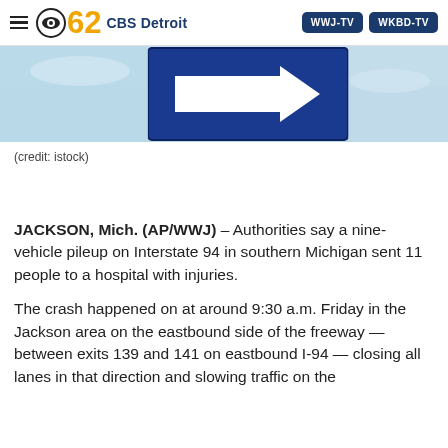CBS 62 CBS Detroit | WWJ-TV | WKBD-TV
[Figure (photo): A blue highway directional sign against a light blue sky, partially cropped showing a white arrow shape on a dark blue background.]
(credit: istock)
JACKSON, Mich. (AP/WWJ) – Authorities say a nine-vehicle pileup on Interstate 94 in southern Michigan sent 11 people to a hospital with injuries.
The crash happened on at around 9:30 a.m. Friday in the Jackson area on the eastbound side of the freeway — between exits 139 and 141 on eastbound I-94 — closing all lanes in that direction and slowing traffic on the